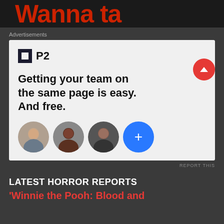[Figure (screenshot): Dark banner with red stylized text partially visible at top]
Advertisements
[Figure (screenshot): P2 advertisement: logo with grid icon and P2 text, tagline 'Getting your team on the same page is easy. And free.', three circular avatar photos and one blue plus button]
REPORT THIS
LATEST HORROR REPORTS
'Winnie the Pooh: Blood and